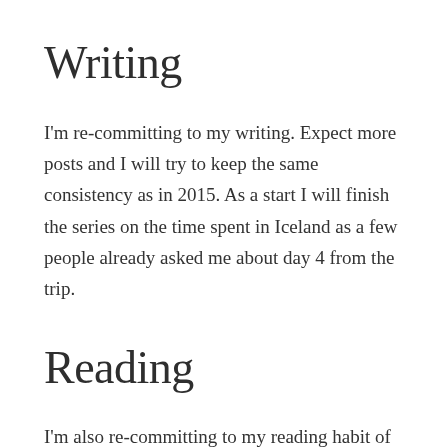Writing
I'm re-committing to my writing. Expect more posts and I will try to keep the same consistency as in 2015. As a start I will finish the series on the time spent in Iceland as a few people already asked me about day 4 from the trip.
Reading
I'm also re-committing to my reading habit of